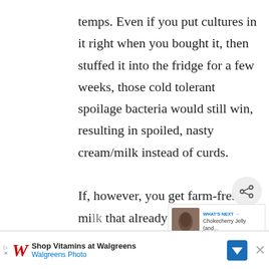temps. Even if you put cultures in it right when you bought it, then stuffed it into the fridge for a few weeks, those cold tolerant spoilage bacteria would still win, resulting in spoiled, nasty cream/milk instead of curds.

If, however, you get farm-fresh milk that already has the natura[l] cultures in it (raw milk) and leave it
[Figure (screenshot): Share button (circular icon with share symbol) and a 'WHAT'S NEXT' card showing a thumbnail image and text 'Chokecherry Jelly (and...']
[Figure (screenshot): Bottom advertisement bar for Walgreens: 'Shop Vitamins at Walgreens / Walgreens Photo' with Walgreens logo, navigation arrow icon, and close button]